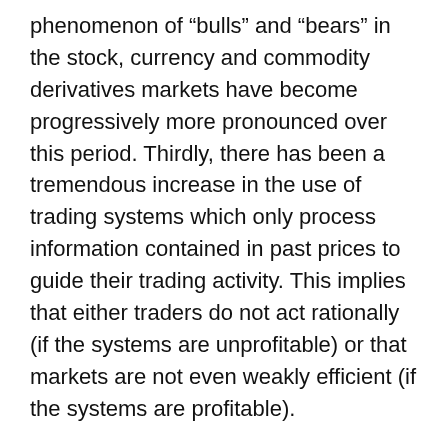phenomenon of “bulls” and “bears” in the stock, currency and commodity derivatives markets have become progressively more pronounced over this period. Thirdly, there has been a tremendous increase in the use of trading systems which only process information contained in past prices to guide their trading activity. This implies that either traders do not act rationally (if the systems are unprofitable) or that markets are not even weakly efficient (if the systems are profitable).
Objection 4: Most financial transactions are not driven by (destabilising) speculation but stem from managing and distributing risk.
Counterargument: Before something can be